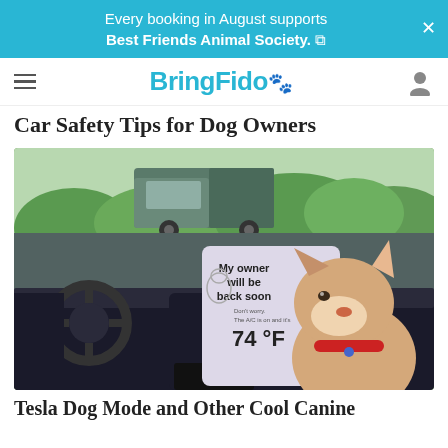Every booking in August supports Best Friends Animal Society.
BringFido
Car Safety Tips for Dog Owners
[Figure (photo): A Shiba Inu dog sitting in the front seat of a Tesla car. The Tesla's touchscreen displays 'My owner will be back soon. Don't worry. The A/C is on and it's 74 °F'. A truck and green trees are visible through the windshield.]
Tesla Dog Mode and Other Cool Canine